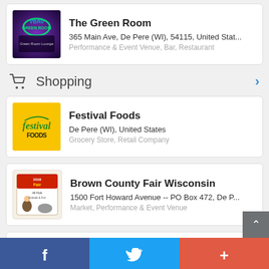[Figure (screenshot): Listing card for The Green Room: photo of neon sign, name, address 365 Main Ave, De Pere (WI), 54115, United Stat..., category Performance & Event Venue, Bar, Restaurant]
Shopping
[Figure (screenshot): Listing card for Festival Foods: yellow logo with green cursive festival text, location De Pere (WI), United States, category Grocery Store, Retail Company]
[Figure (screenshot): Listing card for Brown County Fair Wisconsin: fair poster image, address 1500 Fort Howard Avenue -- PO Box 472, De P..., category Market, Performance & Event Venue]
[Figure (screenshot): Bottom navigation bar with Facebook, Twitter, and plus icons]